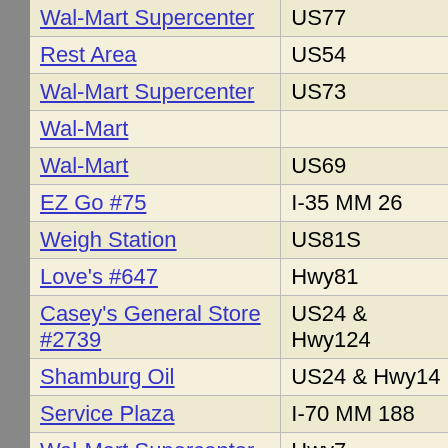| Name | Location |
| --- | --- |
| Wal-Mart Supercenter | US77 |
| Rest Area | US54 |
| Wal-Mart Supercenter | US73 |
| Wal-Mart |  |
| Wal-Mart | US69 |
| EZ Go #75 | I-35 MM 26 |
| Weigh Station | US81S |
| Love's #647 | Hwy81 |
| Casey's General Store #2739 | US24 & Hwy124 |
| Shamburg Oil | US24 & Hwy14 |
| Service Plaza | I-70 MM 188 |
| Wal-Mart Supercenter | Hwy7 |
| Sunmart #574 | I-70 Ex 193 |
| Weigh Station | Hwy75 |
| Rest Area | I-70E MM 224 |
| Rest Area | I-70W MM 224 |
| Phillips 66 #6368 | I-35 MM 98 |
| Wal-Mart Supercenter |  |